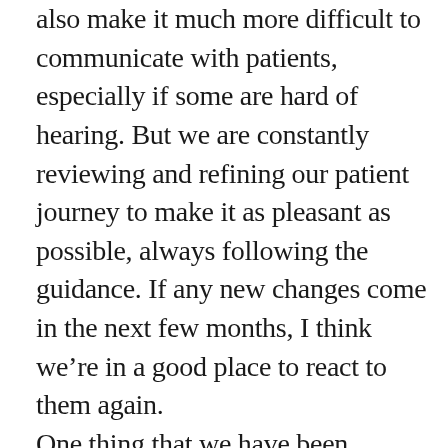also make it much more difficult to communicate with patients, especially if some are hard of hearing. But we are constantly reviewing and refining our patient journey to make it as pleasant as possible, always following the guidance. If any new changes come in the next few months, I think we're in a good place to react to them again. One thing that we have been pleasantly surprised by is how much a patient really appreciates the much time and effort we have put into making them safe. By all the different methods of communicating our measures, such as email broadcasts, social media and local press coverage, as well as demonstrating it when they have come in, they seem to have